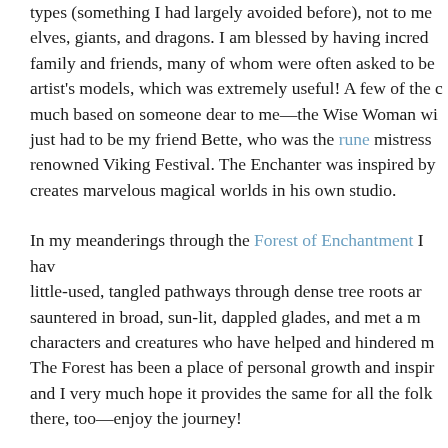types (something I had largely avoided before), not to mention elves, giants, and dragons. I am blessed by having incredible family and friends, many of whom were often asked to be artist's models, which was extremely useful! A few of the characters are much based on someone dear to me—the Wise Woman with the braids just had to be my friend Bette, who was the rune mistress at our renowned Viking Festival. The Enchanter was inspired by my friend who creates marvelous magical worlds in his own studio.

In my meanderings through the Forest of Enchantment I have taken little-used, tangled pathways through dense tree roots and shadows, sauntered in broad, sun-lit, dappled glades, and met a multitude of characters and creatures who have helped and hindered my way. The Forest has been a place of personal growth and inspiration for me, and I very much hope it provides the same for all the folk who travel there, too—enjoy the journey!